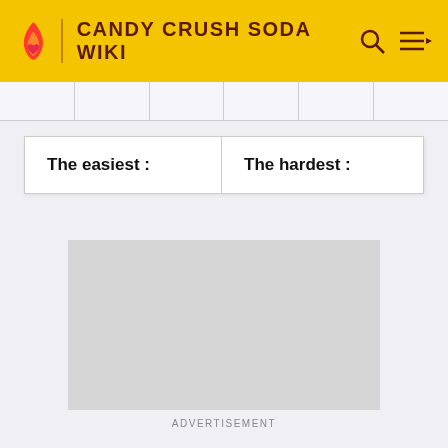CANDY CRUSH SODA WIKI
| The easiest : | The hardest : |
| --- | --- |
[Figure (other): Grey advertisement placeholder block]
ADVERTISEMENT